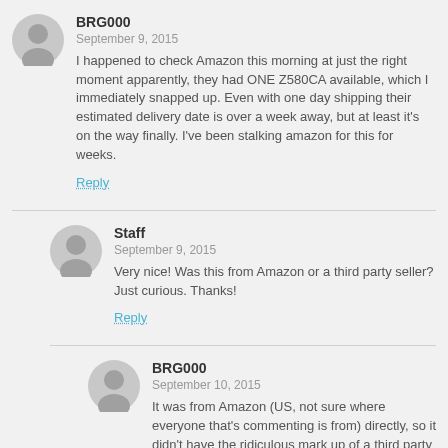BRG000
September 9, 2015
I happened to check Amazon this morning at just the right moment apparently, they had ONE Z580CA available, which I immediately snapped up. Even with one day shipping their estimated delivery date is over a week away, but at least it's on the way finally. I've been stalking amazon for this for weeks.
Reply
Staff
September 9, 2015
Very nice! Was this from Amazon or a third party seller? Just curious. Thanks!
Reply
BRG000
September 10, 2015
It was from Amazon (US, not sure where everyone that's commenting is from) directly, so it didn't have the ridiculous mark up of a third party seller. I really, REALLY wanted this